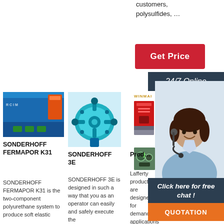customers, polysulfides, …
[Figure (other): Red 'Get Price' button]
[Figure (other): Dark '24/7 Online' banner with customer service representative photo]
[Figure (photo): Blue flat panel industrial machine (SONDERHOFF FERMAPOR K31)]
[Figure (photo): Teal industrial mixing machine (SONDERHOFF 3E)]
[Figure (photo): WINMAI red machine and green machine thumbnails]
SONDERHOFF FERMAPOR K31
SONDERHOFF FERMAPOR K31 is the two-component polyurethane system to produce soft elastic
SONDERHOFF 3E
SONDERHOFF 3E is designed in such a way that you as an operator can easily and safely execute the
Prod…
Lafferty products are designed for demanding applications in food processing, bottling, car/truck
[Figure (other): Chat callout: 'Click here for free chat!' with QUOTATION button]